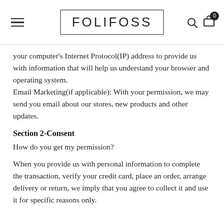FOLIFOSS
your computer's Internet Protocol(IP) address to provide us with information that will help us understand your browser and operating system.
Email Marketing(if applicable): With your permission, we may send you email about our stores, new products and other updates.
Section 2-Consent
How do you get my permission?
When you provide us with personal information to complete the transaction, verify your credit card, place an order, arrange delivery or return, we imply that you agree to collect it and use it for specific reasons only.